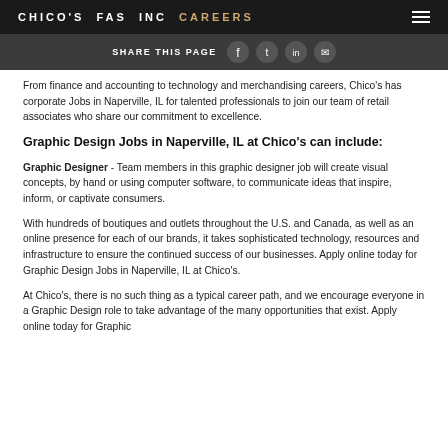CHICO'S FAS INC CAREERS
SHARE THIS PAGE
From finance and accounting to technology and merchandising careers, Chico's has corporate Jobs in Naperville, IL for talented professionals to join our team of retail associates who share our commitment to excellence.
Graphic Design Jobs in Naperville, IL at Chico's can include:
Graphic Designer - Team members in this graphic designer job will create visual concepts, by hand or using computer software, to communicate ideas that inspire, inform, or captivate consumers.
With hundreds of boutiques and outlets throughout the U.S. and Canada, as well as an online presence for each of our brands, it takes sophisticated technology, resources and infrastructure to ensure the continued success of our businesses. Apply online today for Graphic Design Jobs in Naperville, IL at Chico's.
At Chico's, there is no such thing as a typical career path, and we encourage everyone in a Graphic Design role to take advantage of the many opportunities that exist. Apply online today for Graphic